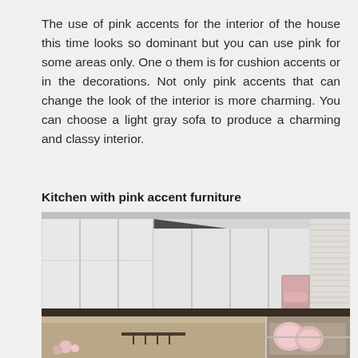The use of pink accents for the interior of the house this time looks so dominant but you can use pink for some areas only. One o them is for cushion accents or in the decorations. Not only pink accents that can change the look of the interior is more charming. You can choose a light gray sofa to produce a charming and classy interior.
Kitchen with pink accent furniture
[Figure (photo): A modern kitchen interior with white flat-panel cabinet doors, a dark ceiling-mounted element, and on the right side shelving with pink dishware and white window blinds visible.]